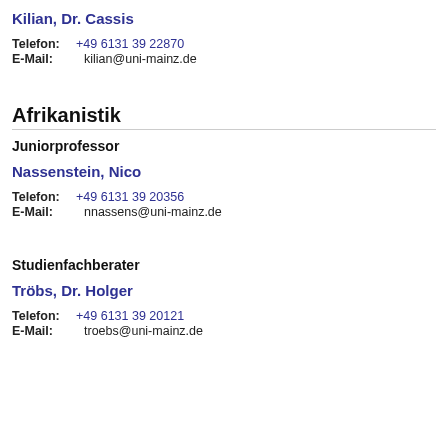Kilian, Dr. Cassis
Telefon: +49 6131 39 22870
E-Mail: kilian@uni-mainz.de
Afrikanistik
Juniorprofessor
Nassenstein, Nico
Telefon: +49 6131 39 20356
E-Mail: nnassens@uni-mainz.de
Studienfachberater
Tröbs, Dr. Holger
Telefon: +49 6131 39 20121
E-Mail: troebs@uni-mainz.de